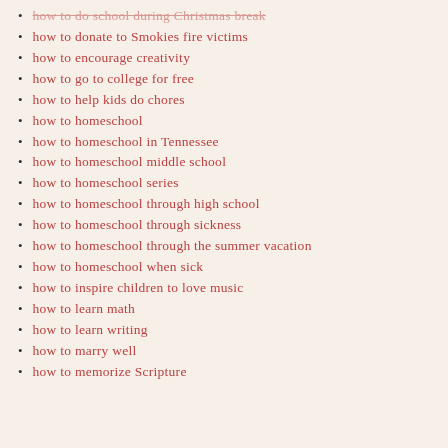how to do school during Christmas break
how to donate to Smokies fire victims
how to encourage creativity
how to go to college for free
how to help kids do chores
how to homeschool
how to homeschool in Tennessee
how to homeschool middle school
how to homeschool series
how to homeschool through high school
how to homeschool through sickness
how to homeschool through the summer vacation
how to homeschool when sick
how to inspire children to love music
how to learn math
how to learn writing
how to marry well
how to memorize Scripture